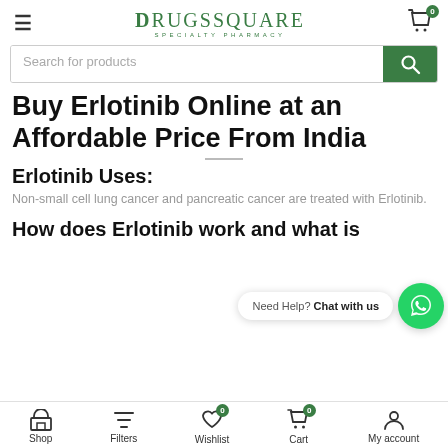DrugSquare Specialty Pharmacy
Search for products
Buy Erlotinib Online at an Affordable Price From India
Erlotinib Uses:
Non-small cell lung cancer and pancreatic cancer are treated with Erlotinib.
How does Erlotinib work and what is
Shop | Filters | Wishlist | Cart | My account